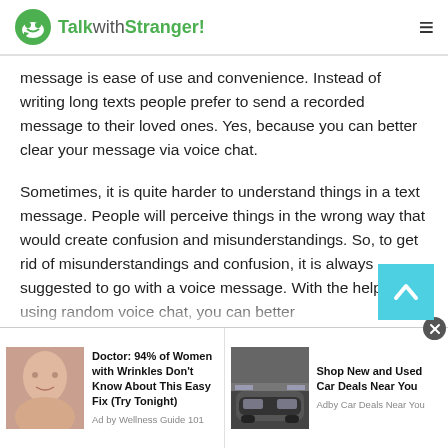TalkwithStranger!
message is ease of use and convenience. Instead of writing long texts people prefer to send a recorded message to their loved ones. Yes, because you can better clear your message via voice chat.
Sometimes, it is quite harder to understand things in a text message. People will perceive things in the wrong way that would create confusion and misunderstandings. So, to get rid of misunderstandings and confusion, it is always suggested to go with a voice message. With the help of using random voice chat, you can better
[Figure (screenshot): Advertisement bar with two ad units: (1) Woman face photo with text 'Doctor: 94% of Women with Wrinkles Don't Know About This Easy Fix (Try Tonight)' by Wellness Guide 101, (2) SUV car photo with text 'Shop New and Used Car Deals Near You' by Car Deals Near You]